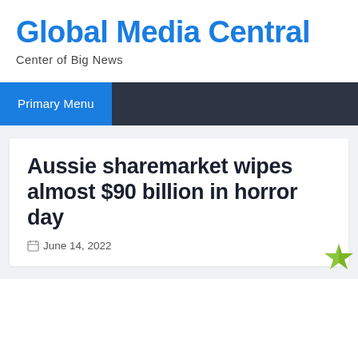Global Media Central
Center of Big News
Primary Menu
Aussie sharemarket wipes almost $90 billion in horror day
June 14, 2022